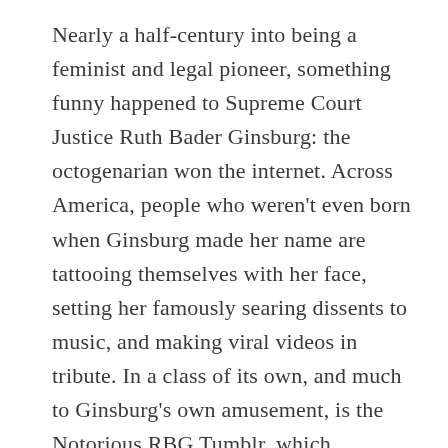Nearly a half-century into being a feminist and legal pioneer, something funny happened to Supreme Court Justice Ruth Bader Ginsburg: the octogenarian won the internet. Across America, people who weren't even born when Ginsburg made her name are tattooing themselves with her face, setting her famously searing dissents to music, and making viral videos in tribute. In a class of its own, and much to Ginsburg's own amusement, is the Notorious RBG Tumblr, which juxtaposes the diminutive but fierce Jewish grandmother with the 350-pound rapper featuring original artwork submitted from around the world.